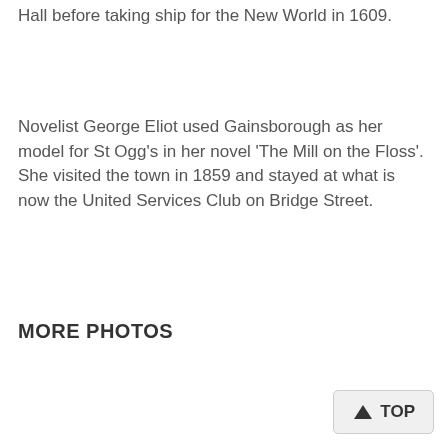Hall before taking ship for the New World in 1609.
Novelist George Eliot used Gainsborough as her model for St Ogg's in her novel 'The Mill on the Floss'. She visited the town in 1859 and stayed at what is now the United Services Club on Bridge Street.
MORE PHOTOS